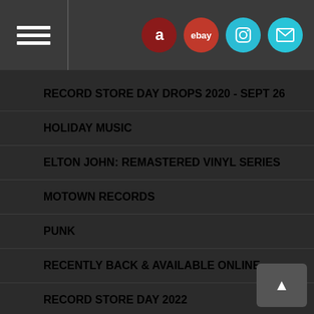Navigation header with hamburger menu and social/shopping icons (Amazon, eBay, Instagram, Mail)
RECORD STORE DAY DROPS 2020 - SEPT 26
HOLIDAY MUSIC
ELTON JOHN: REMASTERED VINYL SERIES
MOTOWN RECORDS
PUNK
RECENTLY BACK & AVAILABLE ONLINE
RECORD STORE DAY 2022
RECORD STORE DAY DROPS 2021 - JULY
RECORD STORE DAY DROPS 2021 - JUNE